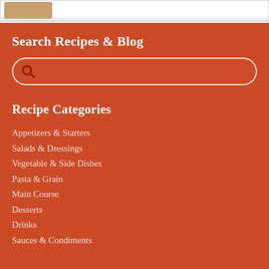[Figure (photo): Partial food photo at top of page]
Search Recipes & Blog
[Figure (other): Search input box with magnifying glass icon]
Recipe Categories
Appetizers & Starters
Salads & Dressings
Vegetable & Side Dishes
Pasta & Grain
Main Course
Desserts
Drinks
Sauces & Condiments